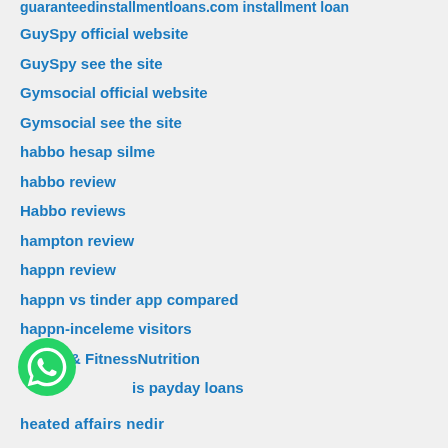guaranteedinstallmentloans.com installment loan
GuySpy official website
GuySpy see the site
Gymsocial official website
Gymsocial see the site
habbo hesap silme
habbo review
Habbo reviews
hampton review
happn review
happn vs tinder app compared
happn-inceleme visitors
Health & FitnessNutrition
is payday loans
heated affairs nedir